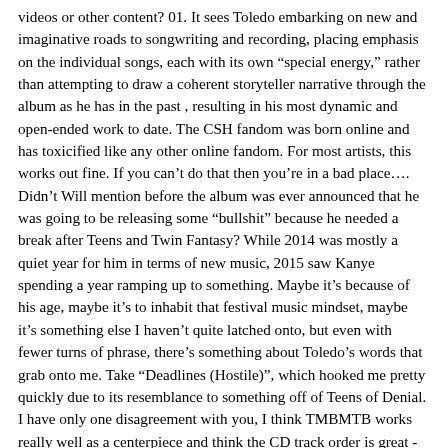videos or other content? 01. It sees Toledo embarking on new and imaginative roads to songwriting and recording, placing emphasis on the individual songs, each with its own “special energy,” rather than attempting to draw a coherent storyteller narrative through the album as he has in the past , resulting in his most dynamic and open-ended work to date. The CSH fandom was born online and has toxicified like any other online fandom. For most artists, this works out fine. If you can’t do that then you’re in a bad place…. Didn’t Will mention before the album was ever announced that he was going to be releasing some “bullshit” because he needed a break after Teens and Twin Fantasy? While 2014 was mostly a quiet year for him in terms of new music, 2015 saw Kanye spending a year ramping up to something. Maybe it’s because of his age, maybe it’s to inhabit that festival music mindset, maybe it’s something else I haven’t quite latched onto, but even with fewer turns of phrase, there’s something about Toledo’s words that grab onto me. Take “Deadlines (Hostile)”, which hooked me pretty quickly due to its resemblance to something off of Teens of Denial. I have only one disagreement with you, I think TMBMTB works really well as a centerpiece and think the CD track order is great - Hymn (Remix) flowing into TMBMTB works really well to my ears, since the discordant chaos of Hymn juxtaposes the pleasant harmony of TMBMTB well. I went in with lowered expectations based on the Pitchfork score/review (which seems to track with many fan reactions), and was like, "What is wrong with these